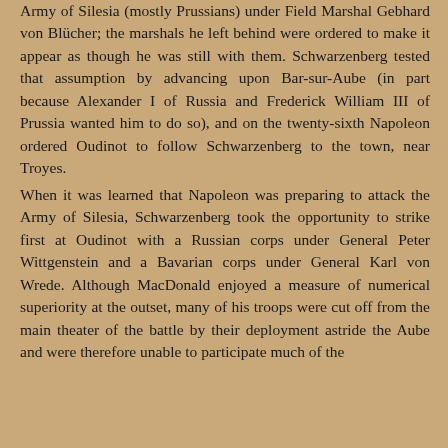Army of Silesia (mostly Prussians) under Field Marshal Gebhard von Blücher; the marshals he left behind were ordered to make it appear as though he was still with them. Schwarzenberg tested that assumption by advancing upon Bar-sur-Aube (in part because Alexander I of Russia and Frederick William III of Prussia wanted him to do so), and on the twenty-sixth Napoleon ordered Oudinot to follow Schwarzenberg to the town, near Troyes. When it was learned that Napoleon was preparing to attack the Army of Silesia, Schwarzenberg took the opportunity to strike first at Oudinot with a Russian corps under General Peter Wittgenstein and a Bavarian corps under General Karl von Wrede. Although MacDonald enjoyed a measure of numerical superiority at the outset, many of his troops were cut off from the main theater of the battle by their deployment astride the Aube and were therefore unable to participate much of the